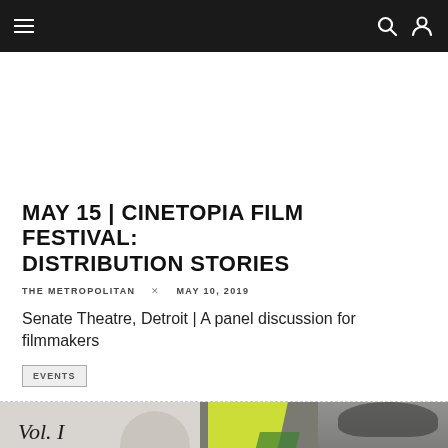Navigation bar with hamburger menu, search icon, and user icon
MAY 15 | CINETOPIA FILM FESTIVAL: DISTRIBUTION STORIES
THE METROPOLITAN × MAY 10, 2019
Senate Theatre, Detroit | A panel discussion for filmmakers
EVENTS
[Figure (photo): Bottom portion of a magazine or event poster showing 'Vol. I Friends' in italic serif text on the left, and a partial black-and-white portrait of a person with a neon yellow element on the right]